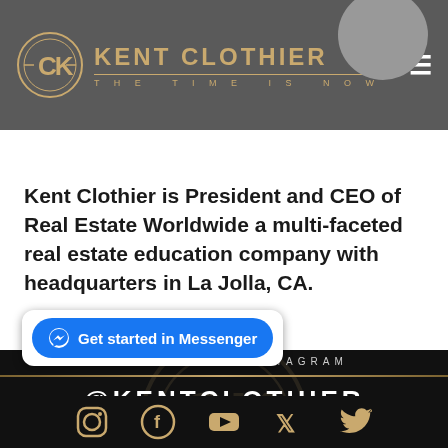KENT CLOTHIER — THE TIME IS NOW
Kent Clothier is President and CEO of Real Estate Worldwide a multi-faceted real estate education company with headquarters in La Jolla, CA.
FOLLOW ON INSTAGRAM
@KENTCLOTHIER
AND MY OTHER SOCIAL MEDIA ACCOUNTS
Get started in Messenger